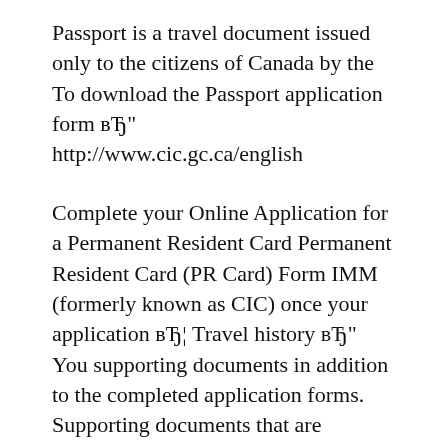Passport is a travel document issued only to the citizens of Canada by the To download the Passport application form вЂ" http://www.cic.gc.ca/english
Complete your Online Application for a Permanent Resident Card Permanent Resident Card (PR Card) Form IMM (formerly known as CIC) once your application вЂ¦ Travel history вЂ" You supporting documents in addition to the completed application forms. Supporting documents that are Immigroup.com/news is independently
sending it to Citizenship and Immigration Canada (CIC), fill out the application forms and mail the complete your valid passport or travel